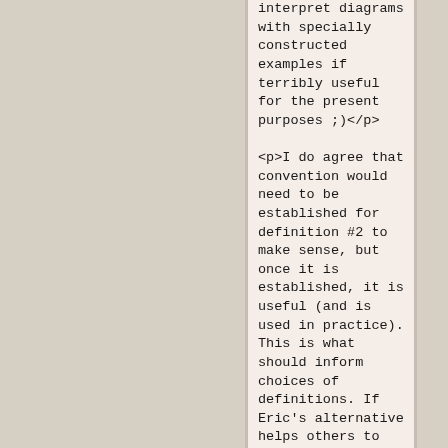interpret diagrams with specially constructed examples if terribly useful for the present purposes ;)</p>

<p>I do agree that convention would need to be established for definition #2 to make sense, but once it is established, it is useful (and is used in practice). This is what should inform choices of definitions. If Eric's alternative helps others to understand (in such a way they can put to use in practice) functors, then well and good. If padding needs to